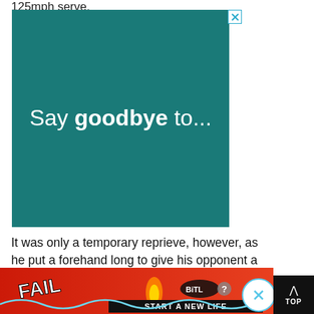125mph serve.
[Figure (illustration): Advertisement banner with teal/dark green background reading 'Say goodbye to...' with a close X button in the top right corner.]
It was only a temporary reprieve, however, as he put a forehand long to give his opponent a second set point. That went by the way but another forced error, his 20th of the
[Figure (illustration): Bottom advertisement banner with red background showing animated game-style graphics with 'FAIL' text, cartoon character, fire, and 'BiTLiFe START A NEW LIFE' text with a question mark icon.]